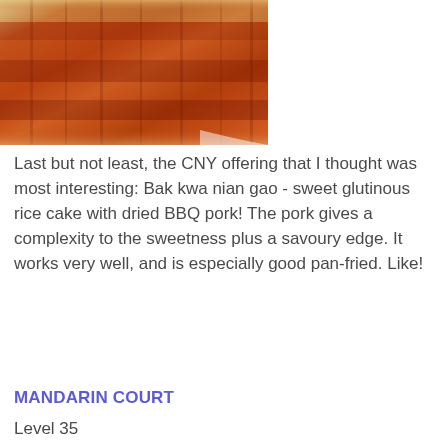[Figure (photo): Close-up photo of bak kwa nian gao - sliced pieces of glutinous rice cake with dried BBQ pork, showing a reddish-brown glazed surface with visible meat and cake layers]
Last but not least, the CNY offering that I thought was most interesting: Bak kwa nian gao - sweet glutinous rice cake with dried BBQ pork! The pork gives a complexity to the sweetness plus a savoury edge. It works very well, and is especially good pan-fried. Like!
MANDARIN COURT
Level 35
Mandarin Orchard
333 Orchard Road
Singapore 238867
Tel: +65 6831 6288/62
Open daily
Lunch
Monday to Friday
12.00pm to 2.30pm